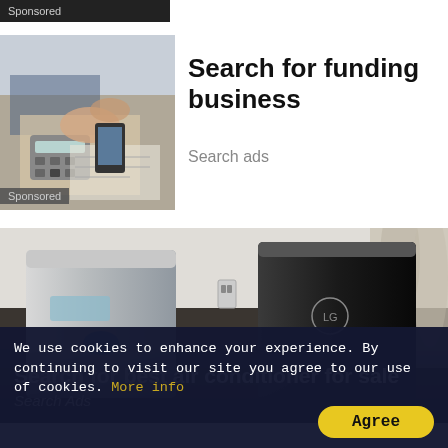[Figure (screenshot): Sponsored label bar, dark background at top left]
[Figure (photo): Photo of hands working at a desk with calculator and phone, with Sponsored overlay at bottom. Adjacent text ad for 'Search for funding business' / 'Search ads']
Search for funding business
Search ads
[Figure (photo): Photo of two portable air conditioner units (one silver, one black LG) in a room, with overlay text 'Search for best air conditioner for sale' and 'Search Ads' and 'Sponsored' label]
We use cookies to enhance your experience. By continuing to visit our site you agree to our use of cookies. More info
Agree